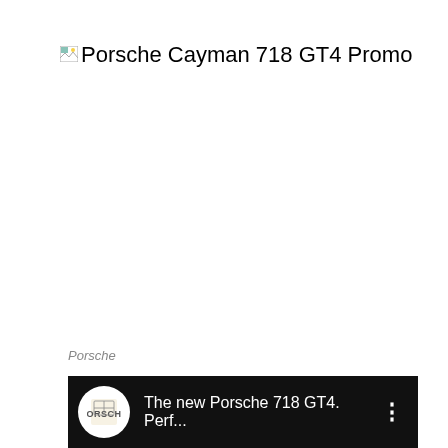Porsche Cayman 718 GT4 Promo
Porsche
Porsche is showcasing a strapping new power plant in a pair of new 718s.
[Figure (screenshot): YouTube video thumbnail showing Porsche logo on white circle against black background, titled 'The new Porsche 718 GT4. Perf...' with a vertical dots menu icon]